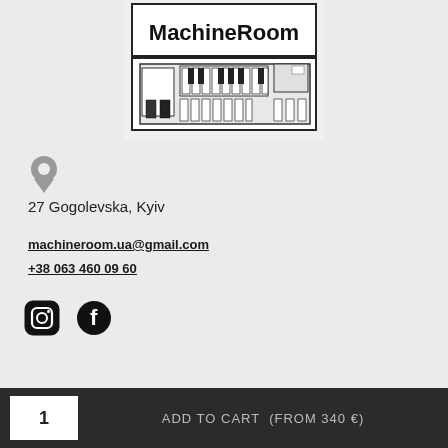[Figure (logo): MachineRoom logo with text 'MachineRoom' above a black-and-white illustration of a synthesizer/keyboard instrument]
[Figure (other): Grey map pin / location icon]
27 Gogolevska, Kyiv
machineroom.ua@gmail.com
+38 063 460 09 60
[Figure (other): Instagram and Facebook social media icons]
1  ADD TO CART  (From 340 €)